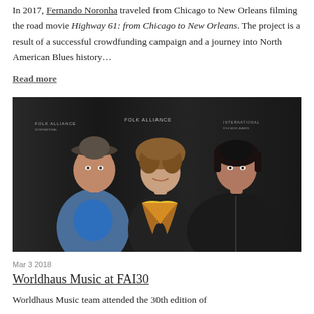In 2017, Fernando Noronha traveled from Chicago to New Orleans filming the road movie Highway 61: from Chicago to New Orleans. The project is a result of a successful crowdfunding campaign and a journey into North American Blues history…
Read more
[Figure (photo): Three people posing in front of a Folk Alliance International banner backdrop. A man in a denim jacket and flat cap on the left, a woman with curly hair and a yellow/multicolor scarf in the middle, and a woman in a black leather jacket on the right.]
Mar 3 2018
Worldhaus Music at FAI30
Worldhaus Music team attended the 30th edition of